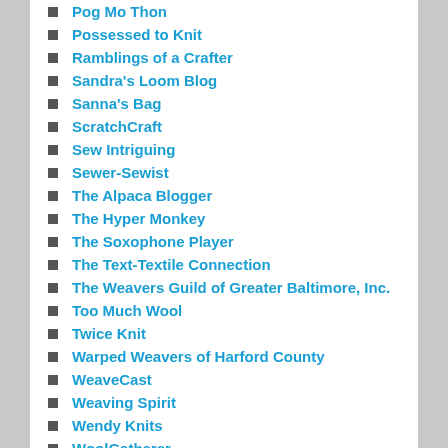Pog Mo Thon
Possessed to Knit
Ramblings of a Crafter
Sandra's Loom Blog
Sanna's Bag
ScratchCraft
Sew Intriguing
Sewer-Sewist
The Alpaca Blogger
The Hyper Monkey
The Soxophone Player
The Text-Textile Connection
The Weavers Guild of Greater Baltimore, Inc.
Too Much Wool
Twice Knit
Warped Weavers of Harford County
WeaveCast
Weaving Spirit
Wendy Knits
WoolGatherer
Wormspit
Woven Thoughts